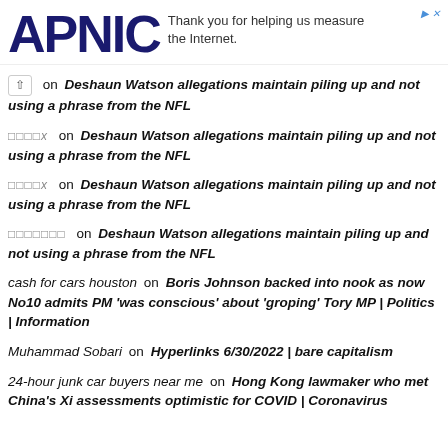APNIC — Thank you for helping us measure the Internet.
[up arrow]  on  Deshaun Watson allegations maintain piling up and not using a phrase from the NFL
□□□□x  on  Deshaun Watson allegations maintain piling up and not using a phrase from the NFL
□□□□x  on  Deshaun Watson allegations maintain piling up and not using a phrase from the NFL
□□□□□□□  on  Deshaun Watson allegations maintain piling up and not using a phrase from the NFL
cash for cars houston  on  Boris Johnson backed into nook as now No10 admits PM 'was conscious' about 'groping' Tory MP | Politics | Information
Muhammad Sobari  on  Hyperlinks 6/30/2022 | bare capitalism
24-hour junk car buyers near me  on  Hong Kong lawmaker who met China's Xi assessments optimistic for COVID | Coronavirus